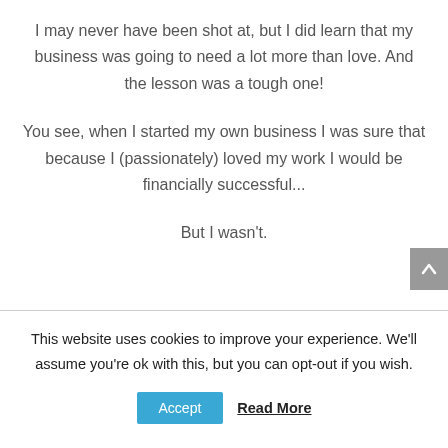I may never have been shot at, but I did learn that my business was going to need a lot more than love. And the lesson was a tough one!
You see, when I started my own business I was sure that because I (passionately) loved my work I would be financially successful...
But I wasn't.
This website uses cookies to improve your experience. We'll assume you're ok with this, but you can opt-out if you wish.
Accept
Read More